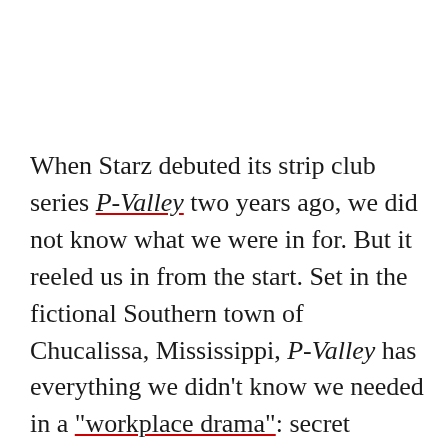When Starz debuted its strip club series P-Valley two years ago, we did not know what we were in for. But it reeled us in from the start. Set in the fictional Southern town of Chucalissa, Mississippi, P-Valley has everything we didn't know we needed in a "workplace drama": secret identities, money laundering, mesmerizing pole routines, and Uncle Clifford (Nicco Annan), one of the most fascinating characters on TV. The nonbinary owner of The Pynk is a standout of the show. She's equal parts lover and fighter, both of